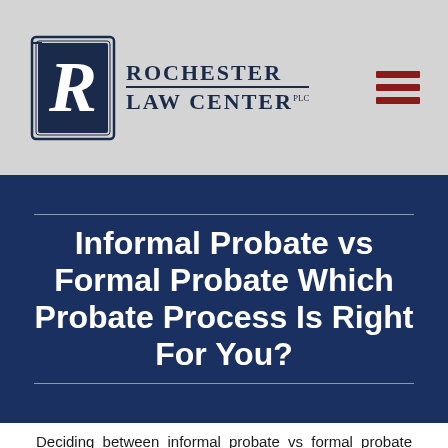[Figure (logo): Rochester Law Center logo with stylized R emblem and firm name]
Informal Probate vs Formal Probate Which Probate Process Is Right For You?
Deciding between informal probate vs formal probate can be confusing. When opening